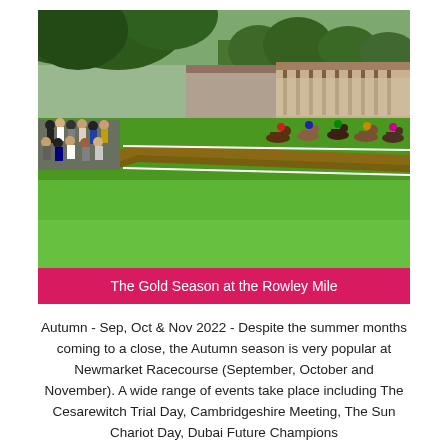[Figure (photo): Horse racing scene at Newmarket Racecourse (Rowley Mile). Green turf with horses racing along the track, spectators lining the rail on the left, grandstand visible in the background on the right, green trees overhanging from top left.]
The Gold Season at the Rowley Mile
Autumn - Sep, Oct & Nov 2022 - Despite the summer months coming to a close, the Autumn season is very popular at Newmarket Racecourse (September, October and November). A wide range of events take place including The Cesarewitch Trial Day, Cambridgeshire Meeting, The Sun Chariot Day, Dubai Future Champions